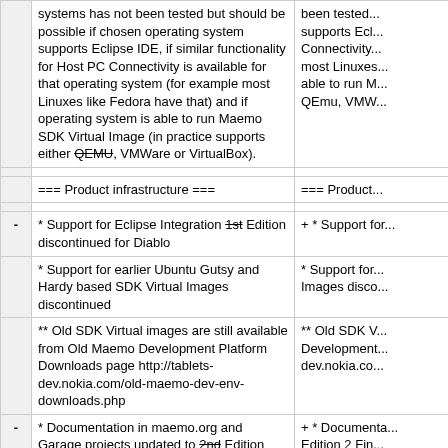|  | Left column | Right column |
| --- | --- | --- |
|  | systems has not been tested but should be possible if chosen operating system supports Eclipse IDE, if similar functionality for Host PC Connectivity is available for that operating system (for example most Linuxes like Fedora have that) and if operating system is able to run Maemo SDK Virtual Image (in practice supports either QEMU, VMWare or VirtualBox). | been tested... supports Eclipse... Connectivity... most Linuxes... able to run M... QEmu, VMW... |
|  | === Product infrastructure === | === Product... |
| - | * Support for Eclipse Integration 1st Edition discontinued for Diablo | + * Support for... |
|  | * Support for earlier Ubuntu Gutsy and Hardy based SDK Virtual Images discontinued | * Support for... Images disco... |
|  | ** Old SDK Virtual images are still available from Old Maemo Development Platform Downloads page http://tablets-dev.nokia.com/old-maemo-dev-env-downloads.php | ** Old SDK V... Development... dev.nokia.co... |
| - | * Documentation in maemo.org and Garage projects updated to 2nd Edition Final level | + * Documenta... Edition 2 Fin... |
|  | ** Edition 1 documentation removed | ** Edition 1 d... |
| - | * Maemo PC Connectivity components released in Frementle extras-devel repository | + * Maemo PC... extras repos... |
|  | * Maemo PC Connectivity components released in Diablo extras-repository | * Maemo PC... repository... |